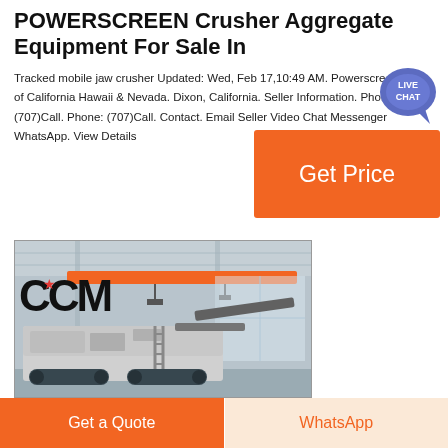POWERSCREEN Crusher Aggregate Equipment For Sale In
Tracked mobile jaw crusher Updated: Wed, Feb 17,10:49 AM. Powerscreen of California Hawaii & Nevada. Dixon, California. Seller Information. Phone: (707)Call. Phone: (707)Call. Contact. Email Seller Video Chat Messenger WhatsApp. View Details
[Figure (other): Live Chat speech bubble badge icon in blue/purple with 'LIVE CHAT' text]
[Figure (other): Orange 'Get Price' button]
[Figure (photo): Photo of a tracked mobile jaw crusher (CCM branded) in an industrial warehouse with orange overhead beam. Large 'CCM' lettering with red star on wall in background.]
[Figure (other): Bottom action bar with 'Get a Quote' orange button on left and 'WhatsApp' button on cream background on right]